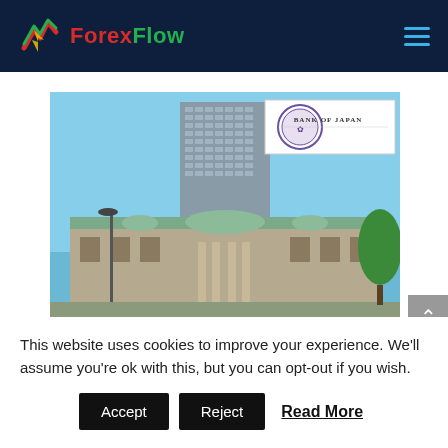ForexFlow
[Figure (photo): Photo of Bank of Japan building exterior with the Bank of Japan logo/crest in the upper right corner overlay]
This website uses cookies to improve your experience. We'll assume you're ok with this, but you can opt-out if you wish.
Accept  Reject  Read More